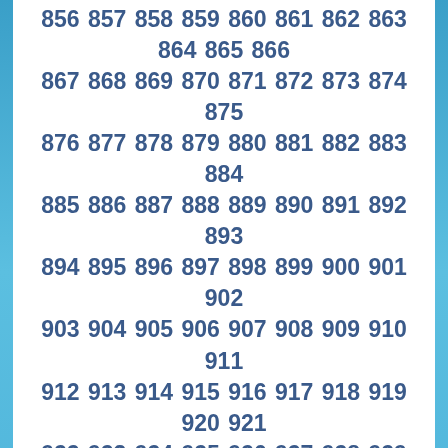856 857 858 859 860 861 862 863 864 865 866 867 868 869 870 871 872 873 874 875 876 877 878 879 880 881 882 883 884 885 886 887 888 889 890 891 892 893 894 895 896 897 898 899 900 901 902 903 904 905 906 907 908 909 910 911 912 913 914 915 916 917 918 919 920 921 922 923 924 925 926 927 928 929 930 931 932 933 934 935 936 937 938 939 940 941 942 943 944 945 946 947 948 949 950 951 952 953 954 955 956 957 958 ...
[Figure (photo): Silhouette of a dancing figure (Michael Jackson style) against blue gradient background, shown in multiple panels]
[Figure (logo): YouTube button - red rounded rectangle with white play icon and YouTube text]
[Figure (logo): Twitter Follow button - blue rounded pill shape with bird icon and Follow text]
[Figure (photo): Michael Jackson silhouette dance poses against blue gradient background with cursive Michael signature text at bottom]